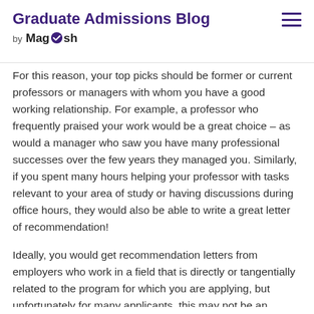Graduate Admissions Blog by Magoosh
For this reason, your top picks should be former or current professors or managers with whom you have a good working relationship. For example, a professor who frequently praised your work would be a great choice – as would a manager who saw you have many professional successes over the few years they managed you. Similarly, if you spent many hours helping your professor with tasks relevant to your area of study or having discussions during office hours, they would also be able to write a great letter of recommendation!
Ideally, you would get recommendation letters from employers who work in a field that is directly or tangentially related to the program for which you are applying, but unfortunately for many applicants, this may not be an option.